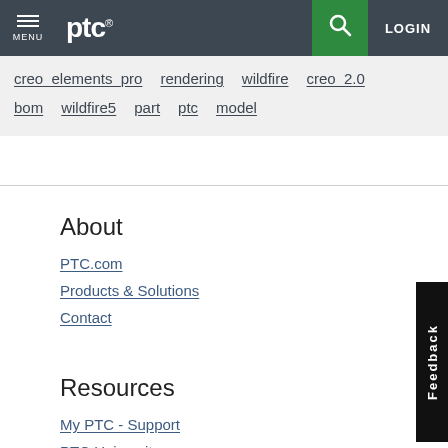ptc® MENU [search] LOGIN
creo_elements_pro
rendering
wildfire
creo_2.0
bom
wildfire5
part
ptc
model
About
PTC.com
Products & Solutions
Contact
Resources
My PTC - Support
PTC University